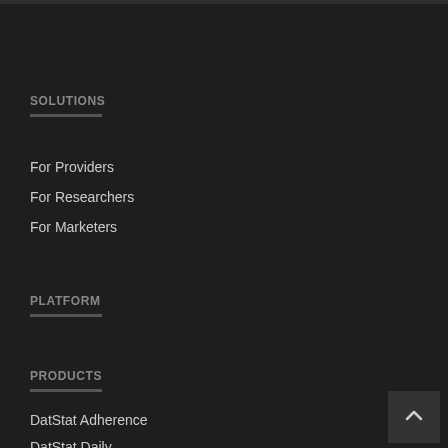SOLUTIONS
For Providers
For Researchers
For Marketers
PLATFORM
PRODUCTS
DatStat Adherence
DatStat Daily